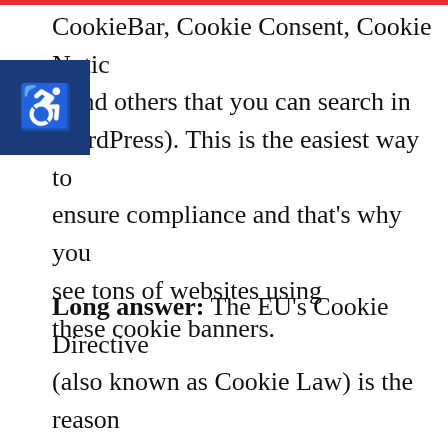CookieBar, Cookie Consent, Cookie Notice and others that you can search in WordPress). This is the easiest way to ensure compliance and that's why you see tons of websites using these cookie banners.
[Figure (other): Blue accessibility icon button with wheelchair symbol]
Long answer: The EU's Cookie Directive (also known as Cookie Law) is the reason behind these cookie banners/popups because it requires people in the EU and websites that specifically target the EU to include a cookie consent. This law has been in place before the GDPR and